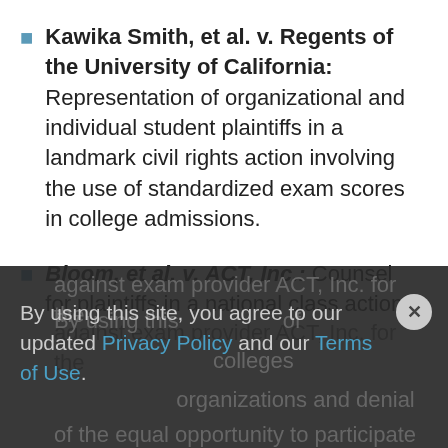Kawika Smith, et al. v. Regents of the University of California: Representation of organizational and individual student plaintiffs in a landmark civil rights action involving the use of standardized exam scores in college admissions.
Bloom, et al. v. ACT, Inc.: Counsel for plaintiffs in a national class action against exam provider ACT, Inc. for the failure to provide accommodations of colleges and organizations and denial of the equal opportunity to participate in
By using this site, you agree to our updated Privacy Policy and our Terms of Use.